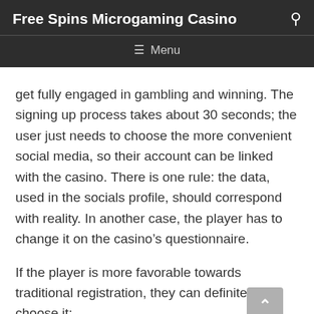Free Spins Microgaming Casino
get fully engaged in gambling and winning. The signing up process takes about 30 seconds; the user just needs to choose the more convenient social media, so their account can be linked with the casino. There is one rule: the data, used in the socials profile, should correspond with reality. In another case, the player has to change it on the casino’s questionnaire.
If the player is more favorable towards traditional registration, they can definitely choose it: